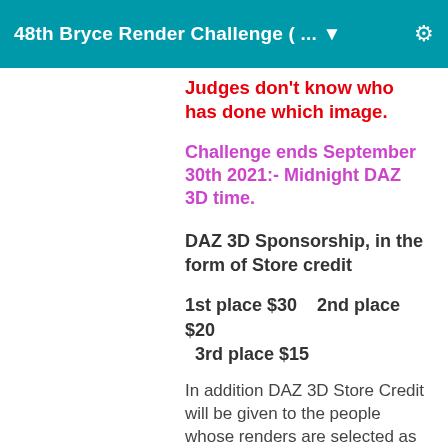48th Bryce Render Challenge ( ... ▼
Judges don't know who has done which image.
Challenge ends September 30th 2021:- Midnight DAZ 3D time.
DAZ 3D Sponsorship, in the form of Store credit
1st place $30    2nd place $20    3rd place $15
In addition DAZ 3D Store Credit will be given to the people whose renders are selected as the Honorable mentions, $10 for each of 3 honorable mentions